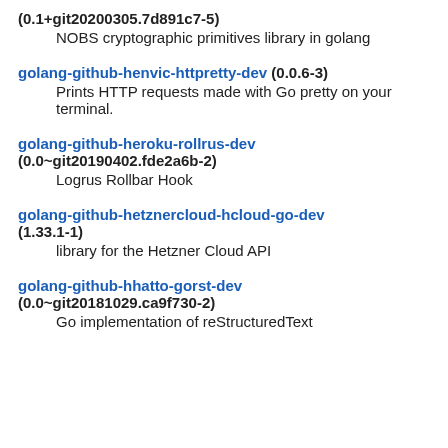(0.1+git20200305.7d891c7-5)
NOBS cryptographic primitives library in golang
golang-github-henvic-httpretty-dev (0.0.6-3)
Prints HTTP requests made with Go pretty on your terminal.
golang-github-heroku-rollrus-dev (0.0~git20190402.fde2a6b-2)
Logrus Rollbar Hook
golang-github-hetznercloud-hcloud-go-dev (1.33.1-1)
library for the Hetzner Cloud API
golang-github-hhatto-gorst-dev (0.0~git20181029.ca9f730-2)
Go implementation of reStructuredText